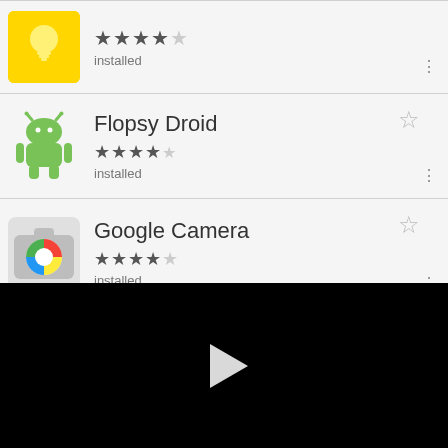[Figure (screenshot): Google Play Store app list showing installed apps: (partially visible top app with yellow icon), Flopsy Droid (4.5 stars, installed), Google Camera (4 stars, installed), Maps (partially visible). Bottom half is black video area with play button.]
Flopsy Droid
★★★★½
installed
Google Camera
★★★★
installed
Maps